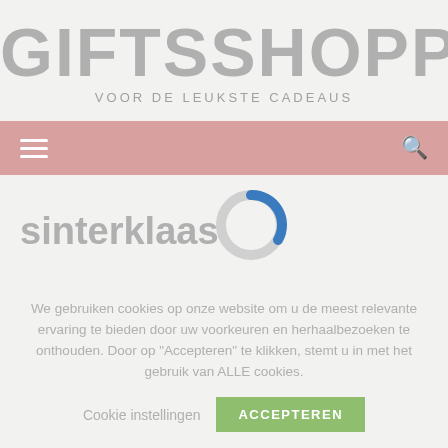GIFTSSHOPPING
VOOR DE LEUKSTE CADEAUS
[Figure (screenshot): Pink navigation bar with white hamburger menu icon on the left and white search icon on the right]
[Figure (other): Loading spinner - partial blue and grey circle donut shape]
sinterklaas
[Figure (illustration): Grey silhouette of a Sinterklaas hat]
We gebruiken cookies op onze website om u de meest relevante ervaring te bieden door uw voorkeuren en herhaalbezoeken te onthouden. Door op "Accepteren" te klikken, stemt u in met het gebruik van ALLE cookies.
Cookie instellingen
ACCEPTEREN